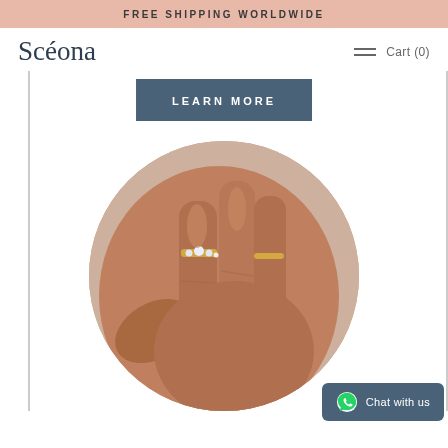FREE SHIPPING WORLDWIDE
Scéona
Cart (0)
LEARN MORE
[Figure (photo): A close-up circular photo of hands wearing gold rings with gemstones, stacked on fingers. The background is soft lavender/grey fabric.]
Chat with us